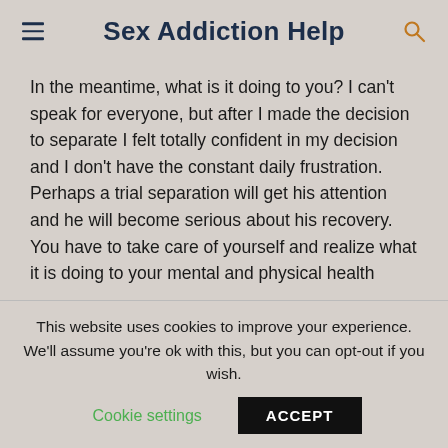Sex Addiction Help
In the meantime, what is it doing to you? I can't speak for everyone, but after I made the decision to separate I felt totally confident in my decision and I don't have the constant daily frustration. Perhaps a trial separation will get his attention and he will become serious about his recovery. You have to take care of yourself and realize what it is doing to your mental and physical health
This website uses cookies to improve your experience. We'll assume you're ok with this, but you can opt-out if you wish.
Cookie settings | ACCEPT